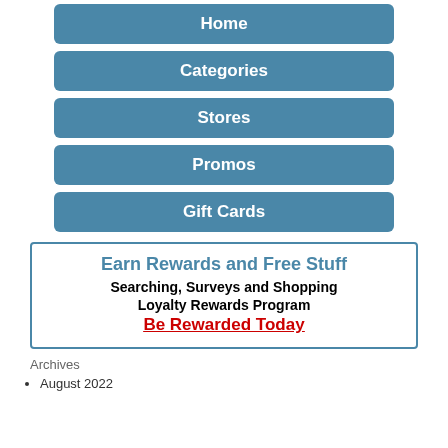Home
Categories
Stores
Promos
Gift Cards
[Figure (infographic): Ad box with blue border. Title: Earn Rewards and Free Stuff. Subtitle: Searching, Surveys and Shopping Loyalty Rewards Program. CTA: Be Rewarded Today (red, underlined).]
Archives
August 2022